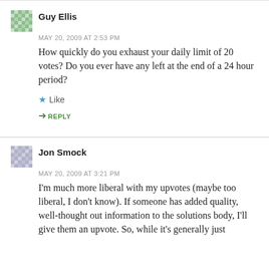Guy Ellis
MAY 20, 2009 AT 2:53 PM
How quickly do you exhaust your daily limit of 20 votes? Do you ever have any left at the end of a 24 hour period?
Like
REPLY
Jon Smock
MAY 20, 2009 AT 3:21 PM
I'm much more liberal with my upvotes (maybe too liberal, I don't know). If someone has added quality, well-thought out information to the solutions body, I'll give them an upvote. So, while it's generally just